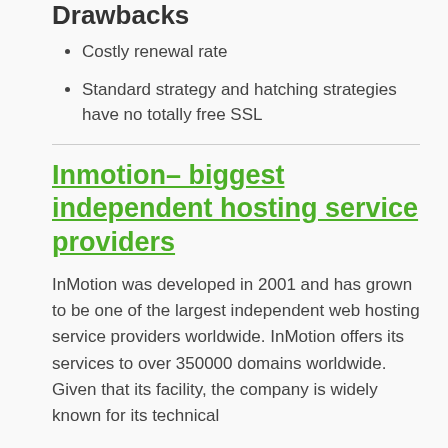Drawbacks
Costly renewal rate
Standard strategy and hatching strategies have no totally free SSL
Inmotion– biggest independent hosting service providers
InMotion was developed in 2001 and has grown to be one of the largest independent web hosting service providers worldwide. InMotion offers its services to over 350000 domains worldwide. Given that its facility, the company is widely known for its technical